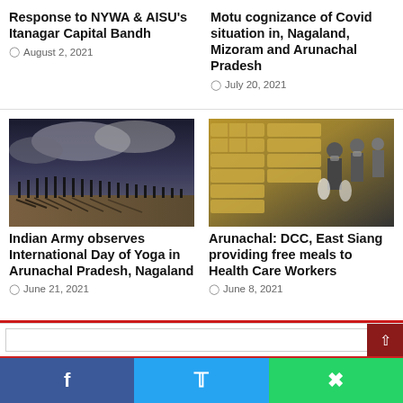Response to NYWA & AISU's Itanagar Capital Bandh
August 2, 2021
Motu cognizance of Covid situation in, Nagaland, Mizoram and Arunachal Pradesh
July 20, 2021
[Figure (photo): Indian Army soldiers performing yoga outdoors under a dramatic cloudy sky on a parade ground]
[Figure (photo): People in masks distributing food trays/meals, with food containers visible in foreground]
Indian Army observes International Day of Yoga in Arunachal Pradesh, Nagaland
June 21, 2021
Arunachal: DCC, East Siang providing free meals to Health Care Workers
June 8, 2021